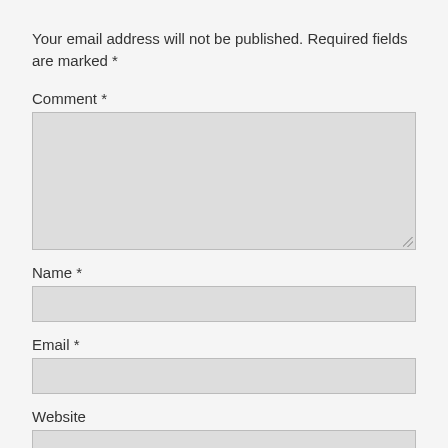Your email address will not be published. Required fields are marked *
Comment *
[Figure (other): Large comment textarea input box with resize handle]
Name *
[Figure (other): Name text input box]
Email *
[Figure (other): Email text input box]
Website
[Figure (other): Website text input box]
Notify me of new posts by email.